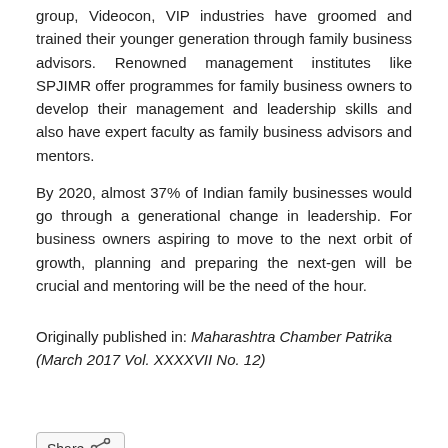group, Videocon, VIP industries have groomed and trained their younger generation through family business advisors. Renowned management institutes like SPJIMR offer programmes for family business owners to develop their management and leadership skills and also have expert faculty as family business advisors and mentors.
By 2020, almost 37% of Indian family businesses would go through a generational change in leadership. For business owners aspiring to move to the next orbit of growth, planning and preparing the next-gen will be crucial and mentoring will be the need of the hour.
Originally published in: Maharashtra Chamber Patrika (March 2017 Vol. XXXXVII No. 12)
[Figure (other): Share button with share icon]